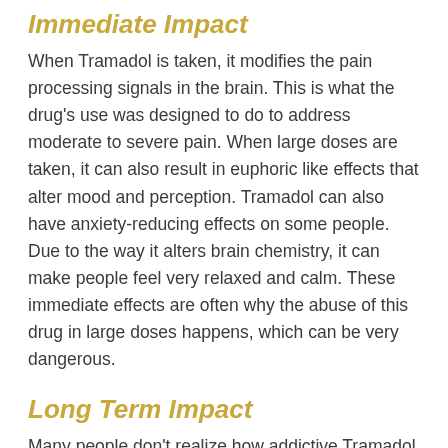Immediate Impact
When Tramadol is taken, it modifies the pain processing signals in the brain. This is what the drug's use was designed to do to address moderate to severe pain. When large doses are taken, it can also result in euphoric like effects that alter mood and perception. Tramadol can also have anxiety-reducing effects on some people. Due to the way it alters brain chemistry, it can make people feel very relaxed and calm. These immediate effects are often why the abuse of this drug in large doses happens, which can be very dangerous.
Long Term Impact
Many people don't realize how addictive Tramadol can actually be. When taken over a long period of time it can make it very likely that a dependence on